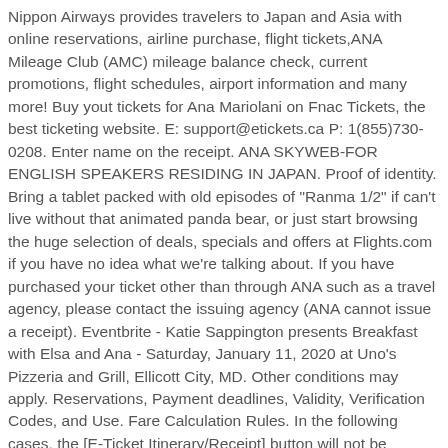Nippon Airways provides travelers to Japan and Asia with online reservations, airline purchase, flight tickets,ANA Mileage Club (AMC) mileage balance check, current promotions, flight schedules, airport information and many more! Buy yout tickets for Ana Mariolani on Fnac Tickets, the best ticketing website. E: support@etickets.ca P: 1(855)730-0208. Enter name on the receipt. ANA SKYWEB-FOR ENGLISH SPEAKERS RESIDING IN JAPAN. Proof of identity. Bring a tablet packed with old episodes of "Ranma 1/2" if can't live without that animated panda bear, or just start browsing the huge selection of deals, specials and offers at Flights.com if you have no idea what we're talking about. If you have purchased your ticket other than through ANA such as a travel agency, please contact the issuing agency (ANA cannot issue a receipt). Eventbrite - Katie Sappington presents Breakfast with Elsa and Ana - Saturday, January 11, 2020 at Uno's Pizzeria and Grill, Ellicott City, MD. Other conditions may apply. Reservations, Payment deadlines, Validity, Verification Codes, and Use. Fare Calculation Rules. In the following cases, the [E-Ticket Itinerary/Receipt] button will not be displayed from the [View Reservation] screen on the ANA Website. Flight tickets and ANA e-Tickets - Forgotten or lost flight tickets. Ils sont bien sûr les bienvenus ! Buy yout tickets for Ana Laura Nascimento on Fnac Tickets,